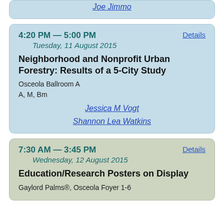Joe Jimmo
4:20 PM — 5:00 PM
Tuesday, 11 August 2015
Neighborhood and Nonprofit Urban Forestry: Results of a 5-City Study
Osceola Ballroom A
A, M, Bm
Jessica M Vogt
Shannon Lea Watkins
Details
7:30 AM — 3:45 PM
Wednesday, 12 August 2015
Education/Research Posters on Display
Gaylord Palms®, Osceola Foyer 1-6
Details